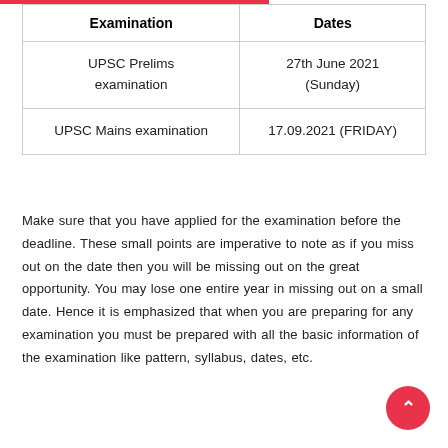| Examination | Dates |
| --- | --- |
| UPSC Prelims examination | 27th June 2021 (Sunday) |
| UPSC Mains examination | 17.09.2021 (FRIDAY) |
Make sure that you have applied for the examination before the deadline. These small points are imperative to note as if you miss out on the date then you will be missing out on the great opportunity. You may lose one entire year in missing out on a small date. Hence it is emphasized that when you are preparing for any examination you must be prepared with all the basic information of the examination like pattern, syllabus, dates, etc.